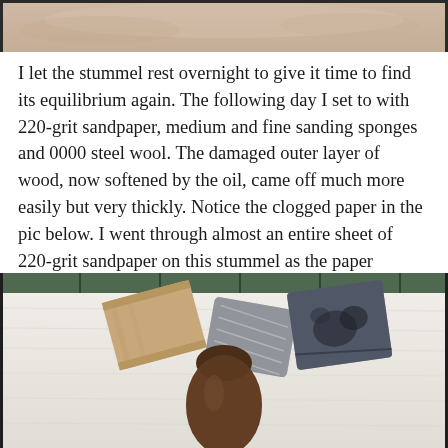[Figure (photo): Top portion of a photo showing a pipe stummel wood surface, cropped at top of page]
I let the stummel rest overnight to give it time to find its equilibrium again. The following day I set to with 220-grit sandpaper, medium and fine sanding sponges and 0000 steel wool. The damaged outer layer of wood, now softened by the oil, came off much more easily but very thickly. Notice the clogged paper in the pic below. I went through almost an entire sheet of 220-grit sandpaper on this stummel as the paper clogged up and quickly became useless.
[Figure (photo): Photo of sanding supplies on a white towel: a beige sanding sponge, a grey steel wool pad, a dark brown pipe stummel, and a dark blue/grey clogged sandpaper sheet, with green rack visible in background]